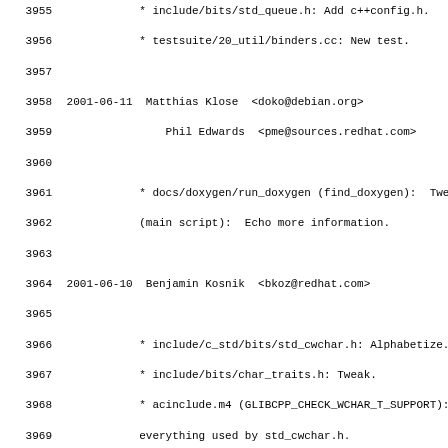3955		* include/bits/std_queue.h: Add c++config.h.
3956		* testsuite/20_util/binders.cc: New test.
3957
3958 2001-06-11  Matthias Klose  <doko@debian.org>
3959			Phil Edwards  <pme@sources.redhat.com>
3960
3961		* docs/doxygen/run_doxygen (find_doxygen):  Twe
3962		(main script):  Echo more information.
3963
3964 2001-06-10  Benjamin Kosnik  <bkoz@redhat.com>
3965
3966		* include/c_std/bits/std_cwchar.h: Alphabetize.
3967		* include/bits/char_traits.h: Tweak.
3968		* acinclude.m4 (GLIBCPP_CHECK_WCHAR_T_SUPPORT):
3969		everything used by std_cwchar.h.
3970		* aclocal.m4: Regenerate.
3971		* configure.in: Regenerate.
3972		* config.h.in: Regenerate.
3973
3974 2001-06-10  Benjamin Kosnik  <bkoz@redhat.com>
3975
3976		* acinclude.m4 (GLIBCPP_ENABLE_C99): Add stdio.
3977		Add checking for strtof, _Exit in stdlib.h
3978		* aclocal.m4: Regenerate.
3979		* configure.in: Regenerate.
3980		* include/c_std/bits/std_cstdio.h: Alphabetize
3981		(snprintf): Put C99 functions into __gnu_cxx na
3982		(vfscanf): Same.
3983		(vscanf): Same.
3984		(vsnprintf): Same.
3985		(vsscanf): Same.
3986		* include/c_std/bits/std_cstdlib.h: Alphabetize